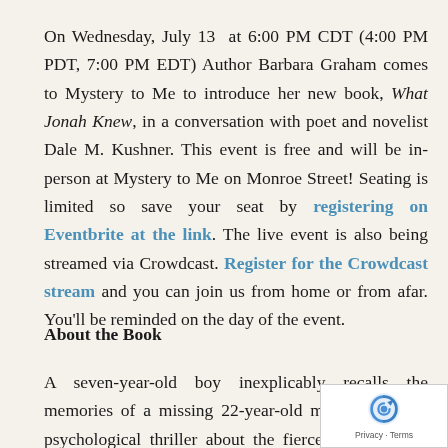On Wednesday, July 13  at 6:00 PM CDT (4:00 PM PDT, 7:00 PM EDT) Author Barbara Graham comes to Mystery to Me to introduce her new book, What Jonah Knew, in a conversation with poet and novelist Dale M. Kushner. This event is free and will be in-person at Mystery to Me on Monroe Street! Seating is limited so save your seat by registering on Eventbrite at the link. The live event is also being streamed via Crowdcast. Register for the Crowdcast stream and you can join us from home or from afar. You'll be reminded on the day of the event.
About the Book
A seven-year-old boy inexplicably recalls the memories of a missing 22-year-old musician in this psychological thriller about the fierce love between mothers and sons across lifetimes, a work of gripping suspense with a supernatural twist that will mesmerize fans of Chlo...